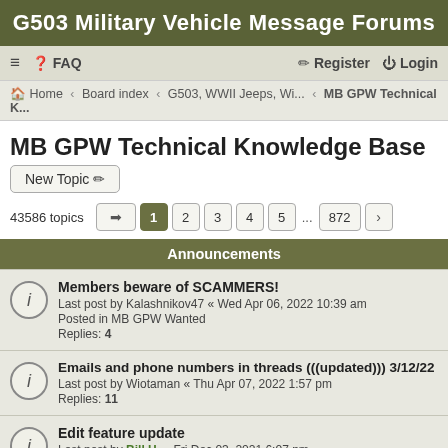G503 Military Vehicle Message Forums
≡  FAQ    Register  Login
Home · Board index · G503, WWII Jeeps, Wi... · MB GPW Technical K...
MB GPW Technical Knowledge Base
New Topic ✏
43586 topics  ➡  1  2  3  4  5  ...  872  >
Announcements
Members beware of SCAMMERS!
Last post by Kalashnikov47 « Wed Apr 06, 2022 10:39 am
Posted in MB GPW Wanted
Replies: 4
Emails and phone numbers in threads (((updated))) 3/12/22
Last post by Wiotaman « Thu Apr 07, 2022 1:57 pm
Replies: 11
Edit feature update
Last post by Bill H. « Fri Dec 03, 2021 6:07 pm
Replies: 17
Topics
More Data Plates INFORMATION Required Like THESE